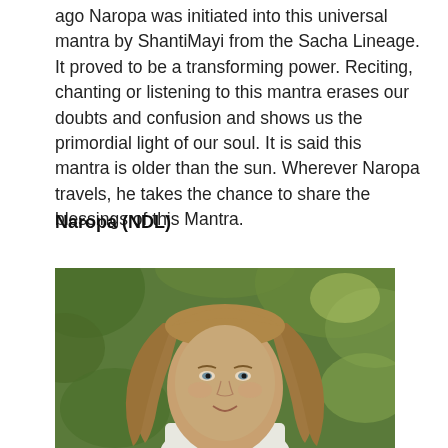ago Naropa was initiated into this universal mantra by ShantiMayi from the Sacha Lineage. It proved to be a transforming power. Reciting, chanting or listening to this mantra erases our doubts and confusion and shows us the primordial light of our soul. It is said this mantra is older than the sun. Wherever Naropa travels, he takes the chance to share the blessings of this Mantra.
Naropa (NDL)
[Figure (photo): Portrait photograph of a person with long light-brown hair, light skin, wearing a white top with a dark bead necklace. Green blurred foliage background.]